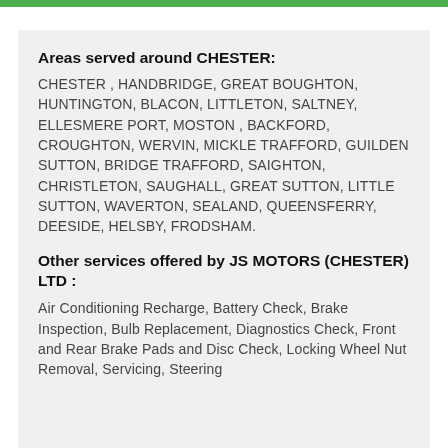Areas served around CHESTER:
CHESTER , HANDBRIDGE, GREAT BOUGHTON, HUNTINGTON, BLACON, LITTLETON, SALTNEY, ELLESMERE PORT, MOSTON , BACKFORD, CROUGHTON, WERVIN, MICKLE TRAFFORD, GUILDEN SUTTON, BRIDGE TRAFFORD, SAIGHTON, CHRISTLETON, SAUGHALL, GREAT SUTTON, LITTLE SUTTON, WAVERTON, SEALAND, QUEENSFERRY, DEESIDE, HELSBY, FRODSHAM.
Other services offered by JS MOTORS (CHESTER) LTD :
Air Conditioning Recharge, Battery Check, Brake Inspection, Bulb Replacement, Diagnostics Check, Front and Rear Brake Pads and Disc Check, Locking Wheel Nut Removal, Servicing, Steering…